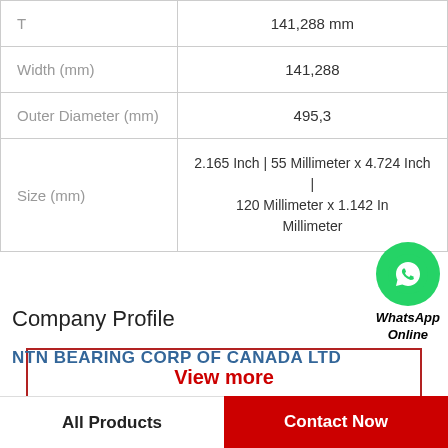| Parameter | Value |
| --- | --- |
| T | 141,288 mm |
| Width (mm) | 141,288 |
| Outer Diameter (mm) | 495,3 |
| Size (mm) | 2.165 Inch | 55 Millimeter x 4.724 Inch | 120 Millimeter x 1.142 Inch | 29 Millimeter |
[Figure (logo): WhatsApp contact bubble with green circle icon and 'WhatsApp Online' label]
View more
Company Profile
NTN BEARING CORP OF CANADA LTD
All Products | Contact Now